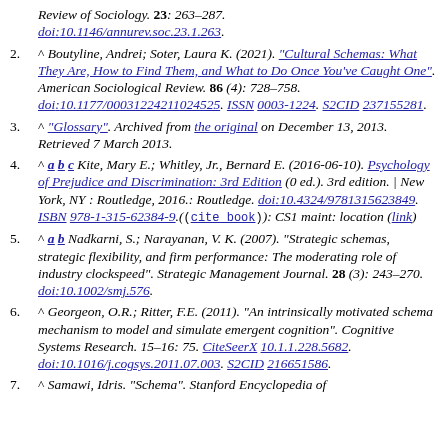Review of Sociology. 23: 263–287. doi:10.1146/annurev.soc.23.1.263.
2. ^ Boutyline, Andrei; Soter, Laura K. (2021). "Cultural Schemas: What They Are, How to Find Them, and What to Do Once You've Caught One". American Sociological Review. 86 (4): 728–758. doi:10.1177/00031224211024525. ISSN 0003-1224. S2CID 237155281.
3. ^ "Glossary". Archived from the original on December 13, 2013. Retrieved 7 March 2013.
4. ^ a b c Kite, Mary E.; Whitley, Jr., Bernard E. (2016-06-10). Psychology of Prejudice and Discrimination: 3rd Edition (0 ed.). 3rd edition. | New York, NY : Routledge, 2016.: Routledge. doi:10.4324/9781315623849. ISBN 978-1-315-62384-9.((cite book)): CS1 maint: location (link)
5. ^ a b Nadkarni, S.; Narayanan, V. K. (2007). "Strategic schemas, strategic flexibility, and firm performance: The moderating role of industry clockspeed". Strategic Management Journal. 28 (3): 243–270. doi:10.1002/smj.576.
6. ^ Georgeon, O.R.; Ritter, F.E. (2011). "An intrinsically motivated schema mechanism to model and simulate emergent cognition". Cognitive Systems Research. 15–16: 75. CiteSeerX 10.1.1.228.5682. doi:10.1016/j.cogsys.2011.07.003. S2CID 216651586.
7. ^ Samawi, Idris. "Schema". Stanford Encyclopedia of...